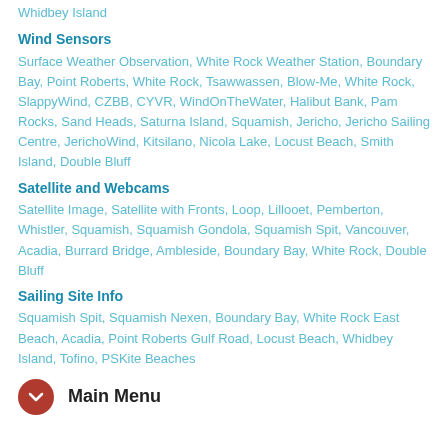Whidbey Island
Wind Sensors
Surface Weather Observation, White Rock Weather Station, Boundary Bay, Point Roberts, White Rock, Tsawwassen, Blow-Me, White Rock, SlappyWind, CZBB, CYVR, WindOnTheWater, Halibut Bank, Pam Rocks, Sand Heads, Saturna Island, Squamish, Jericho, Jericho Sailing Centre, JerichoWind, Kitsilano, Nicola Lake, Locust Beach, Smith Island, Double Bluff
Satellite and Webcams
Satellite Image, Satellite with Fronts, Loop, Lillooet, Pemberton, Whistler, Squamish, Squamish Gondola, Squamish Spit, Vancouver, Acadia, Burrard Bridge, Ambleside, Boundary Bay, White Rock, Double Bluff
Sailing Site Info
Squamish Spit, Squamish Nexen, Boundary Bay, White Rock East Beach, Acadia, Point Roberts Gulf Road, Locust Beach, Whidbey Island, Tofino, PSKite Beaches
Main Menu